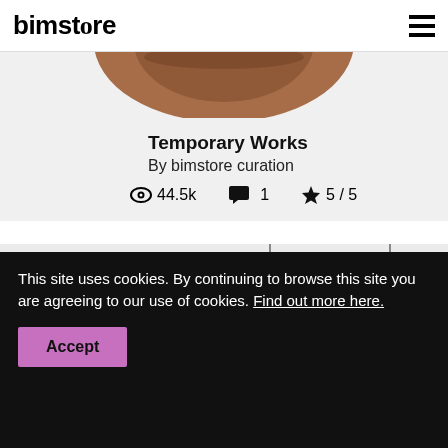bimstore
[Figure (photo): Partial top view of a copper/bronze pendant lamp against a light background]
Temporary Works
By bimstore curation
44.5k  1  5 / 5
[Figure (photo): Three copper/rose-gold pendant lamps hanging in a row with a curved white architectural backdrop. A blue circular avatar icon with a user silhouette is overlaid on the left side.]
This site uses cookies. By continuing to browse this site you are agreeing to our use of cookies. Find out more here.
Accept